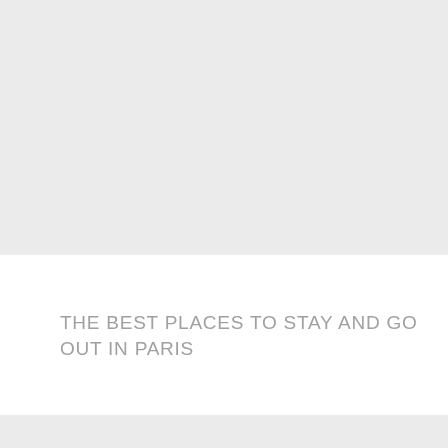[Figure (photo): Large light gray rectangular placeholder area occupying the top portion of the page]
THE BEST PLACES TO STAY AND GO OUT IN PARIS